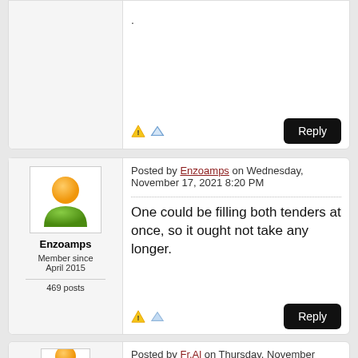.
Reply
[Figure (illustration): User avatar icon — orange circle head and green body]
Enzoamps
Member since April 2015
469 posts
Posted by Enzoamps on Wednesday, November 17, 2021 8:20 PM
One could be filling both tenders at once, so it ought not take any longer.
Reply
[Figure (illustration): User avatar icon — orange circle head, partial view]
Posted by Fr.Al on Thursday, November 18, 2021 7:38 AM